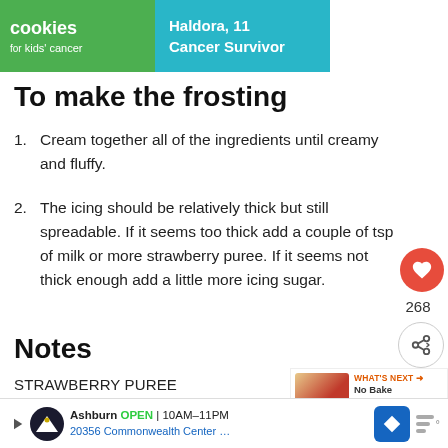[Figure (other): Advertisement banner for cookies for kids cancer with Haldora, 11 Cancer Survivor]
To make the frosting
Cream together all of the ingredients until creamy and fluffy.
The icing should be relatively thick but still spreadable. If it seems too thick add a couple of tsp of milk or more strawberry puree. If it seems not thick enough add a little more icing sugar.
Notes
STRAWBERRY PUREE
If you have really ripe summer strawberries, with good, deep colour, you can  just puree them together to add to th... st... d adding
[Figure (other): What's Next: No Bake Strawberry... advertisement thumbnail]
[Figure (other): Bottom advertisement: Topgolf Ashburn OPEN 10AM-11PM 20356 Commonwealth Center...]